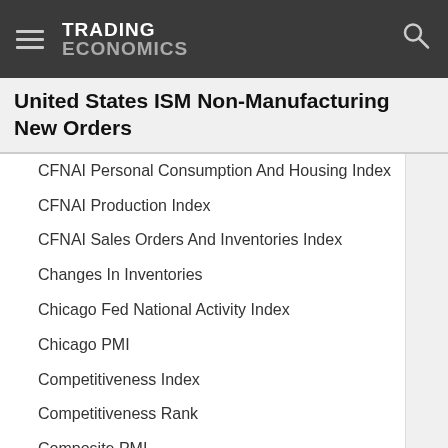TRADING ECONOMICS
United States ISM Non-Manufacturing New Orders
CFNAI Personal Consumption And Housing Index
CFNAI Production Index
CFNAI Sales Orders And Inventories Index
Changes In Inventories
Chicago Fed National Activity Index
Chicago PMI
Competitiveness Index
Competitiveness Rank
Composite PMI
Corporate Profits
Corruption Index
Corruption Rank
Crude Oil Imports
Crude Oil Rigs
Crude Oil Stocks Change
Cushing Crude Oil Stocks
Dallas Fed Manufacturing Employment Index